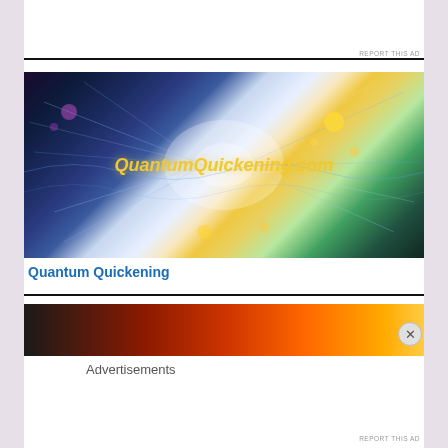REPORT THIS AD
[Figure (illustration): Colorful neural network / quantum energy burst illustration with glowing light rays and the text 'QuantumQuickening.com' overlaid in gold italic font]
Quantum Quickening
[Figure (photo): Partial view of a second advertisement strip showing a dark-to-orange-flame gradient image, with a close (X) button on the right]
Advertisements
REPORT THIS AD